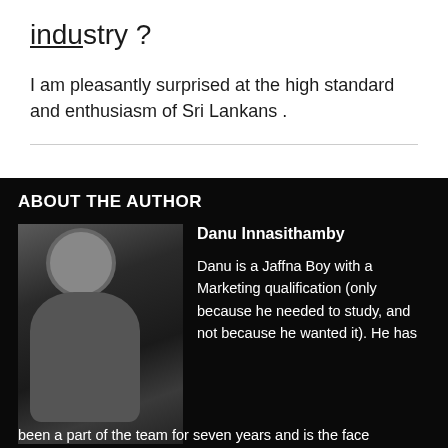industry ?
I am pleasantly surprised at the high standard and enthusiasm of Sri Lankans .
ABOUT THE AUTHOR
[Figure (photo): Black and white portrait photo of a young man in a suit seated in a chair, looking at the camera]
Danu Innasithamby
Danu is a Jaffna Boy with a Marketing qualification (only because he needed to study, and not because he wanted it). He has been a part of the team for seven years and is the face